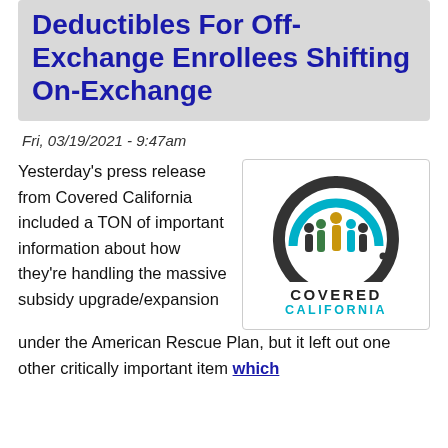Deductibles For Off-Exchange Enrollees Shifting On-Exchange
Fri, 03/19/2021 - 9:47am
Yesterday's press release from Covered California included a TON of important information about how they're handling the massive subsidy upgrade/expansion under the American Rescue Plan, but it left out one other critically important item which
[Figure (logo): Covered California logo: circular icon with stylized figures and bar chart elements in dark gray, teal, green, and gold, with text COVERED CALIFORNIA below]